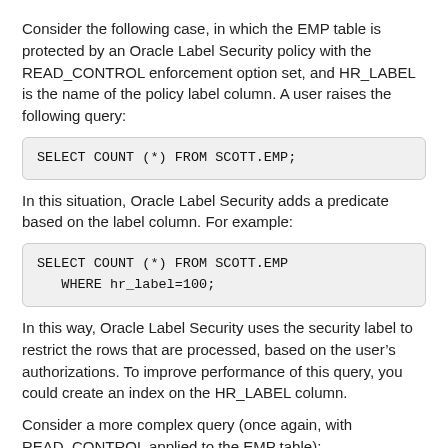Consider the following case, in which the EMP table is protected by an Oracle Label Security policy with the READ_CONTROL enforcement option set, and HR_LABEL is the name of the policy label column. A user raises the following query:
In this situation, Oracle Label Security adds a predicate based on the label column. For example:
In this way, Oracle Label Security uses the security label to restrict the rows that are processed, based on the user's authorizations. To improve performance of this query, you could create an index on the HR_LABEL column.
Consider a more complex query (once again, with READ_CONTROL applied to the EMP table):